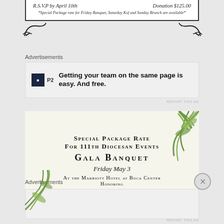R.S.V.P by April 10th
Donation $125.00
*Special Package rate for Friday Banquet, Saturday Kof and Sunday Brunch are available*
Advertisements
[Figure (other): P2 advertisement banner: Getting your team on the same page is easy. And free.]
REPORT THIS AD
[Figure (other): Gala Banquet flyer with bamboo leaf decoration. Text: Special Package Rate For 111th Diocesan Events, Gala Banquet, Friday May 3, At the Marriott Hotel at Boca Center, Honoring]
Advertisements
REPORT THIS AD